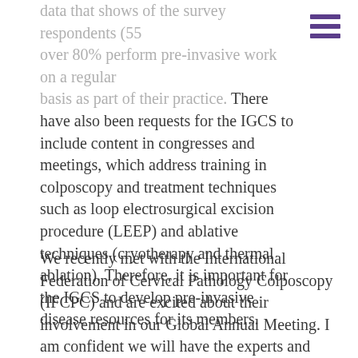data that shows of the survey respondents (55 over 80% perform pre-invasive work on a regular basis as part of their practice. There have also been requests for the IGCS to include content in congresses and meetings, which address training in colposcopy and treatment techniques such as loop electrosurgical excision procedure (LEEP) and ablative techniques (cryotherapy and thermal ablation). Therefore, it is important for the IGCS to develop pre-invasive disease resources for its members.
We recently met with the International Federation of Cervical Pathology Colposcopy (IFCPC) and are excited about their involvement in our Global Annual Meeting. I am confident we will have the experts and resources needed to deliver the most up-to-date and relevant information in pre-invasive